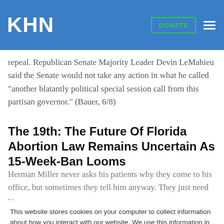KHN | DONATE
repeal. Republican Senate Majority Leader Devin LeMahieu said the Senate would not take any action in what he called “another blatantly political special session call from this partisan governor.” (Bauer, 6/8)
The 19th: The Future Of Florida Abortion Law Remains Uncertain As 15-Week-Ban Looms
Herman Miller never asks his patients why they come to his office, but sometimes they tell him anyway. They just need to
This website stores cookies on your computer to collect information about how you interact with our website. We use this information in order to improve and customize your browsing experience and for analytics and metrics about our visitors both on this website and other media. To find out more about the cookies we use, see our Privacy Policy.
Accept